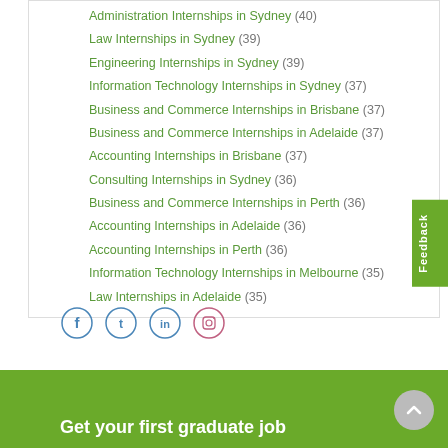Administration Internships in Sydney (40)
Law Internships in Sydney (39)
Engineering Internships in Sydney (39)
Information Technology Internships in Sydney (37)
Business and Commerce Internships in Brisbane (37)
Business and Commerce Internships in Adelaide (37)
Accounting Internships in Brisbane (37)
Consulting Internships in Sydney (36)
Business and Commerce Internships in Perth (36)
Accounting Internships in Adelaide (36)
Accounting Internships in Perth (36)
Information Technology Internships in Melbourne (35)
Law Internships in Adelaide (35)
[Figure (other): Social media icons: Facebook, Twitter, LinkedIn, Instagram]
Get your first graduate job